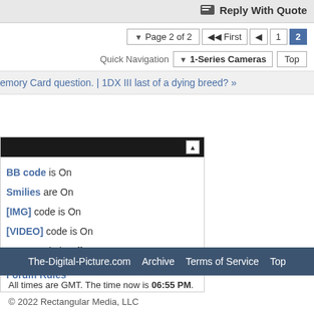Reply With Quote
Page 2 of 2  First  1  2
Quick Navigation  1-Series Cameras  Top
emory Card question. | 1DX III last of a dying breed? »
BB code is On
Smilies are On
[IMG] code is On
[VIDEO] code is On
HTML code is Off
Forum Rules
The-Digital-Picture.com  Archive  Terms of Service  Top
All times are GMT. The time now is 06:55 PM.
© 2022 Rectangular Media, LLC